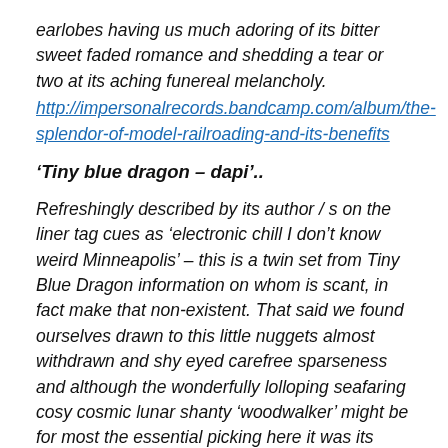earlobes having us much adoring of its bitter sweet faded romance and shedding a tear or two at its aching funereal melancholy.
http://impersonalrecords.bandcamp.com/album/the-splendor-of-model-railroading-and-its-benefits
‘Tiny blue dragon – dapi’..
Refreshingly described by its author / s on the liner tag cues as ‘electronic chill I don’t know weird Minneapolis’ – this is a twin set from Tiny Blue Dragon information on whom is scant, in fact make that non-existent. That said we found ourselves drawn to this little nuggets almost withdrawn and shy eyed carefree sparseness and although the wonderfully lolloping seafaring cosy cosmic lunar shanty ‘woodwalker’ might be for most the essential picking here it was its partner in crime ‘eau caé’ that had